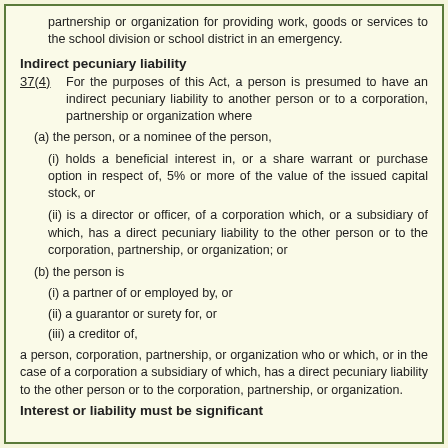partnership or organization for providing work, goods or services to the school division or school district in an emergency.
Indirect pecuniary liability
37(4)   For the purposes of this Act, a person is presumed to have an indirect pecuniary liability to another person or to a corporation, partnership or organization where
(a) the person, or a nominee of the person,
(i) holds a beneficial interest in, or a share warrant or purchase option in respect of, 5% or more of the value of the issued capital stock, or
(ii) is a director or officer, of a corporation which, or a subsidiary of which, has a direct pecuniary liability to the other person or to the corporation, partnership, or organization; or
(b) the person is
(i) a partner of or employed by, or
(ii) a guarantor or surety for, or
(iii) a creditor of,
a person, corporation, partnership, or organization who or which, or in the case of a corporation a subsidiary of which, has a direct pecuniary liability to the other person or to the corporation, partnership, or organization.
Interest or liability must be significant